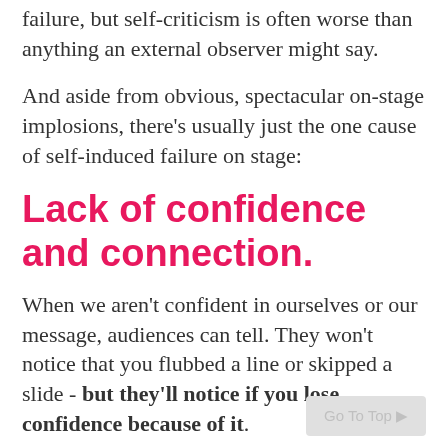failure, but self-criticism is often worse than anything an external observer might say.
And aside from obvious, spectacular on-stage implosions, there's usually just the one cause of self-induced failure on stage:
Lack of confidence and connection.
When we aren't confident in ourselves or our message, audiences can tell. They won't notice that you flubbed a line or skipped a slide - but they'll notice if you lose confidence because of it.
So how does a keynote speaker ensure